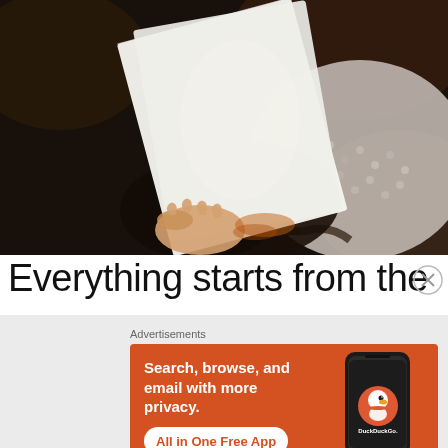[Figure (photo): Person lying down reading a book, hand visible holding open white book, wearing knit scarf, dark background with warm bokeh lighting]
Everything starts from the
[Figure (infographic): DuckDuckGo advertisement banner with orange background. Text: 'Search, browse, and email with more privacy. All in One Free App'. Shows a smartphone with DuckDuckGo duck logo. DuckDuckGo. branding bottom right.]
Advertisements